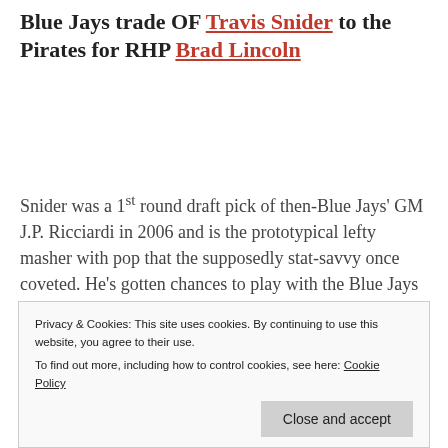Blue Jays trade OF Travis Snider to the Pirates for RHP Brad Lincoln
Snider was a 1st round draft pick of then-Blue Jays' GM J.P. Ricciardi in 2006 and is the prototypical lefty masher with pop that the supposedly stat-savvy once coveted. He's gotten chances to play with the Blue Jays and shown flashes of being a 15-20 homer man, but has also endured horrific slumps. Snider's more of
pitching coach Joe Kerrigan for changing his
Privacy & Cookies: This site uses cookies. By continuing to use this website, you agree to their use. To find out more, including how to control cookies, see here: Cookie Policy